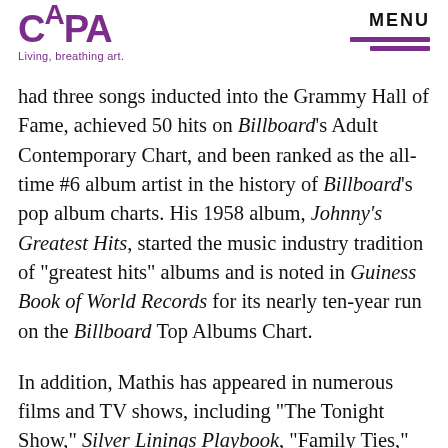[Figure (logo): CAPA logo with stylized purple lettering and tagline 'Living, breathing art.']
MENU
had three songs inducted into the Grammy Hall of Fame, achieved 50 hits on Billboard's Adult Contemporary Chart, and been ranked as the all-time #6 album artist in the history of Billboard's pop album charts. His 1958 album, Johnny's Greatest Hits, started the music industry tradition of "greatest hits" albums and is noted in Guiness Book of World Records for its nearly ten-year run on the Billboard Top Albums Chart.
In addition, Mathis has appeared in numerous films and TV shows, including "The Tonight Show," Silver Linings Playbook, "Family Ties,"